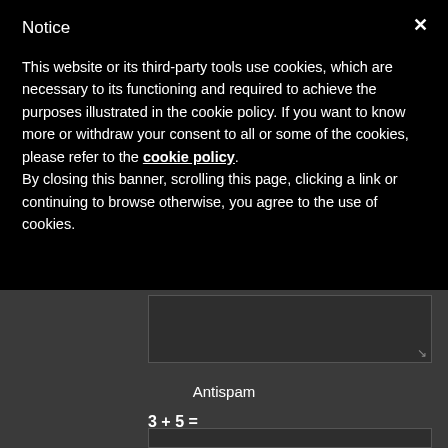Notice
This website or its third-party tools use cookies, which are necessary to its functioning and required to achieve the purposes illustrated in the cookie policy. If you want to know more or withdraw your consent to all or some of the cookies, please refer to the cookie policy.
By closing this banner, scrolling this page, clicking a link or continuing to browse otherwise, you agree to the use of cookies.
Antispam